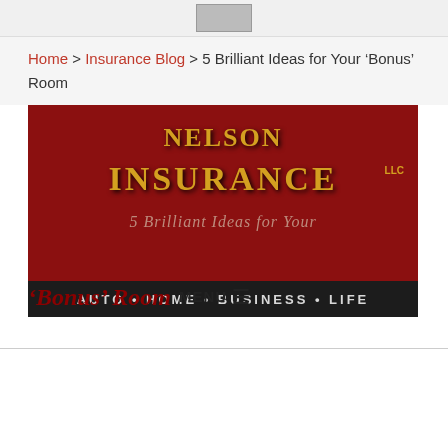Nelson Insurance LLC logo
Home > Insurance Blog > 5 Brilliant Ideas for Your 'Bonus' Room
[Figure (photo): Nelson Insurance LLC banner image showing the company name in gold letters on a red background, with the tagline AUTO · HOME · BUSINESS · LIFE on a dark bar at the bottom]
5 Brilliant Ideas for Your 'Bonus' Room
MENU ☰